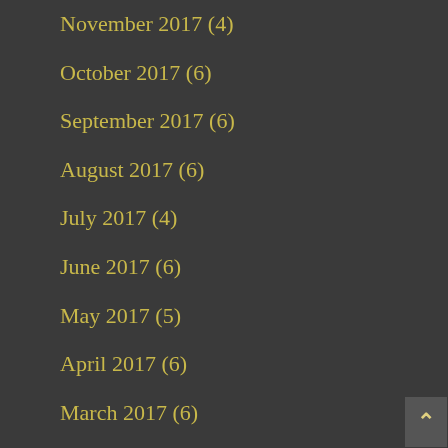November 2017 (4)
October 2017 (6)
September 2017 (6)
August 2017 (6)
July 2017 (4)
June 2017 (6)
May 2017 (5)
April 2017 (6)
March 2017 (6)
February 2017 (2)
January 2017 (7)
December 2016 (4)
November 2016 (6)
October 2016 (6)